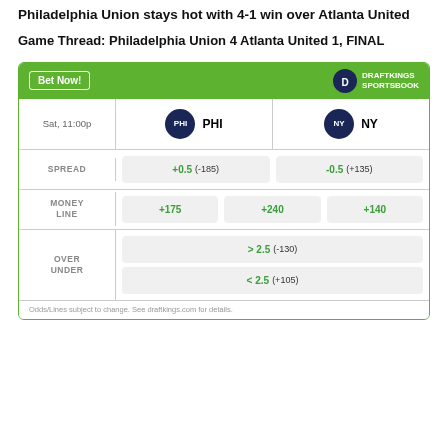Philadelphia Union stays hot with 4-1 win over Atlanta United
Game Thread: Philadelphia Union 4 Atlanta United 1, FINAL
[Figure (infographic): DraftKings Sportsbook betting widget showing odds for PHI vs NY game on Sat, 11:00p. Spread: PHI +0.5 (-185), NY -0.5 (+135). Money Line: +175, +240, +140. Over/Under: > 2.5 (-130), < 2.5 (+105).]
Odds/Lines subject to change. See draftkings.com for details.